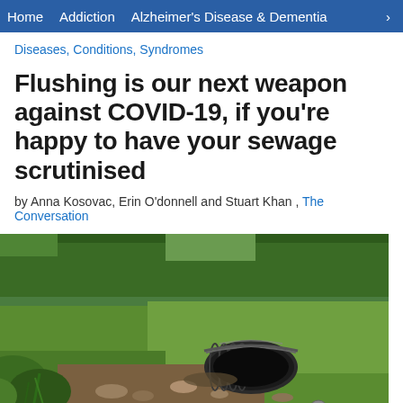Home   Addiction   Alzheimer's Disease & Dementia   >
Diseases, Conditions, Syndromes
Flushing is our next weapon against COVID-19, if you're happy to have your sewage scrutinised
by Anna Kosovac, Erin O'donnell and Stuart Khan , The Conversation
[Figure (photo): A large corrugated metal drainage pipe outlet discharging onto rocky ground surrounded by green grass and trees in the background]